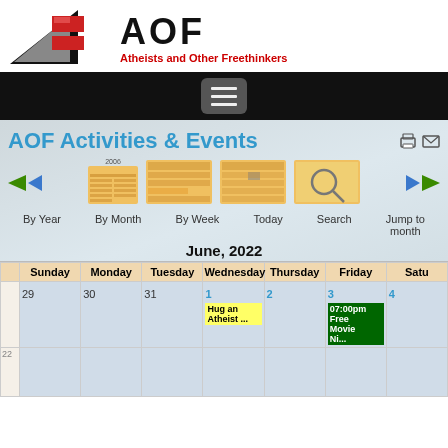AOF — Atheists and Other Freethinkers
[Figure (logo): AOF logo with black triangle, red rectangles, bold AOF text, and tagline 'Atheists and Other Freethinkers' in red]
AOF Activities & Events
[Figure (infographic): Calendar navigation icons: By Year, By Month, By Week, Today, Search, Jump to month with left/right arrow controls]
June, 2022
|  | Sunday | Monday | Tuesday | Wednesday | Thursday | Friday | Satu |
| --- | --- | --- | --- | --- | --- | --- | --- |
|  | 29 | 30 | 31 | 1 | 2 | 3 | 4 |
| 22 |  |  |  | Hug an Atheist ... |  | 07:00pm Free Movie Ni... |  |